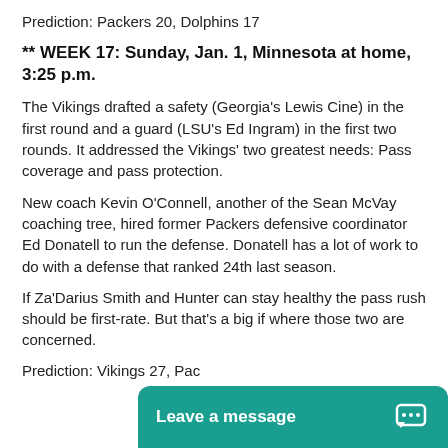Prediction: Packers 20, Dolphins 17
** WEEK 17: Sunday, Jan. 1, Minnesota at home, 3:25 p.m.
The Vikings drafted a safety (Georgia's Lewis Cine) in the first round and a guard (LSU's Ed Ingram) in the first two rounds. It addressed the Vikings' two greatest needs: Pass coverage and pass protection.
New coach Kevin O'Connell, another of the Sean McVay coaching tree, hired former Packers defensive coordinator Ed Donatell to run the defense. Donatell has a lot of work to do with a defense that ranked 24th last season.
If Za'Darius Smith and Hunter can stay healthy the pass rush should be first-rate. But that's a big if where those two are concerned.
Prediction: Vikings 27, Pac...